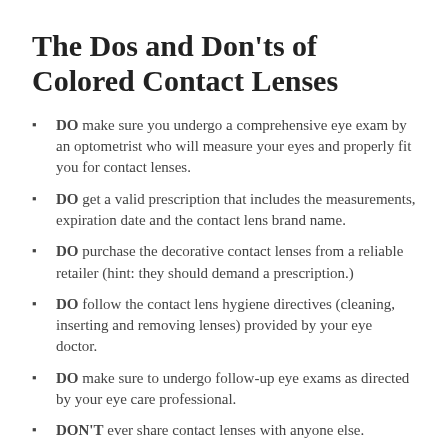The Dos and Don'ts of Colored Contact Lenses
DO make sure you undergo a comprehensive eye exam by an optometrist who will measure your eyes and properly fit you for contact lenses.
DO get a valid prescription that includes the measurements, expiration date and the contact lens brand name.
DO purchase the decorative contact lenses from a reliable retailer (hint: they should demand a prescription.)
DO follow the contact lens hygiene directives (cleaning, inserting and removing lenses) provided by your eye doctor.
DO make sure to undergo follow-up eye exams as directed by your eye care professional.
DON'T ever share contact lenses with anyone else.
So don't let an eye infection get in the way of your fun this Halloween. Wearing decorative lenses without a valid prescription can result in